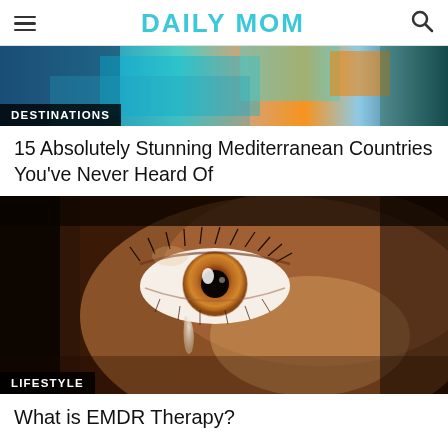DAILY MOM
[Figure (photo): Aerial/waterfront view of a Mediterranean coastal destination with turquoise water and colorful structures, labeled DESTINATIONS]
15 Absolutely Stunning Mediterranean Countries You’ve Never Heard Of
[Figure (photo): Close-up of a brown eye with a tear rolling down the cheek, dark dramatic lighting, labeled LIFESTYLE]
What is EMDR Therapy?